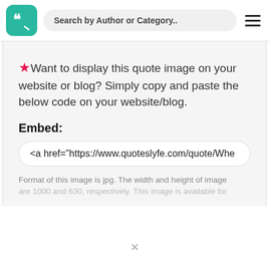[Figure (logo): QuotesLyfe logo: teal rounded square with white quotation mark icon]
Search by Author or Category..
★Want to display this quote image on your website or blog? Simply copy and paste the below code on your website/blog.
Embed:
<a href="https://www.quoteslyfe.com/quote/Whe
Format of this image is jpg. The width and height of image are 1000 and 630, respectively. This image is available for